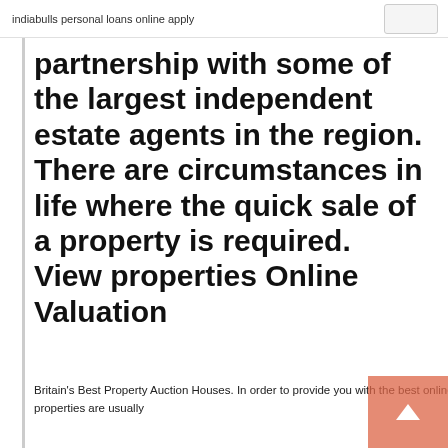indiabulls personal loans online apply
partnership with some of the largest independent estate agents in the region. There are circumstances in life where the quick sale of a property is required. View properties Online Valuation
Britain's Best Property Auction Houses. In order to provide you with the best online experience this website uses cookies. By using our website, you agree to. These properties are usually